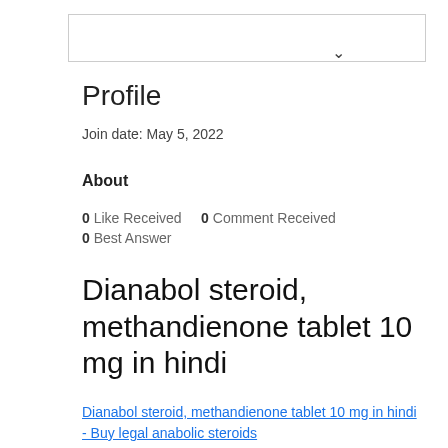[Figure (screenshot): Search/dropdown box with chevron arrow]
Profile
Join date: May 5, 2022
About
0 Like Received    0 Comment Received
0 Best Answer
Dianabol steroid, methandienone tablet 10 mg in hindi
Dianabol steroid, methandienone tablet 10 mg in hindi - Buy legal anabolic steroids